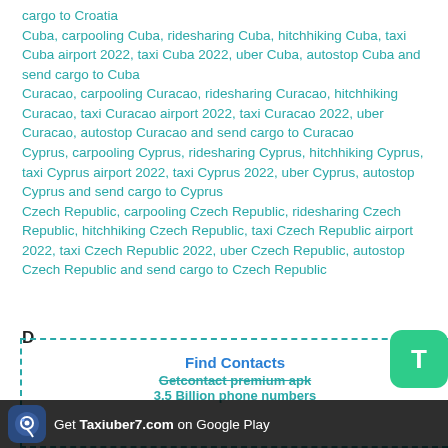cargo to Croatia
Cuba, carpooling Cuba, ridesharing Cuba, hitchhiking Cuba, taxi Cuba airport 2022, taxi Cuba 2022, uber Cuba, autostop Cuba and send cargo to Cuba
Curacao, carpooling Curacao, ridesharing Curacao, hitchhiking Curacao, taxi Curacao airport 2022, taxi Curacao 2022, uber Curacao, autostop Curacao and send cargo to Curacao
Cyprus, carpooling Cyprus, ridesharing Cyprus, hitchhiking Cyprus, taxi Cyprus airport 2022, taxi Cyprus 2022, uber Cyprus, autostop Cyprus and send cargo to Cyprus
Czech Republic, carpooling Czech Republic, ridesharing Czech Republic, hitchhiking Czech Republic, taxi Czech Republic airport 2022, taxi Czech Republic 2022, uber Czech Republic, autostop Czech Republic and send cargo to Czech Republic
D
[Figure (infographic): Find Contacts - Getcontact premium apk advertisement banner with dashed teal border, showing Find Contacts title and Getcontact premium apk text with 3.5 Billion phone numbers, with a T button in green on the right side and a Get Taxiuber7.com on Google Play bar at the bottom]